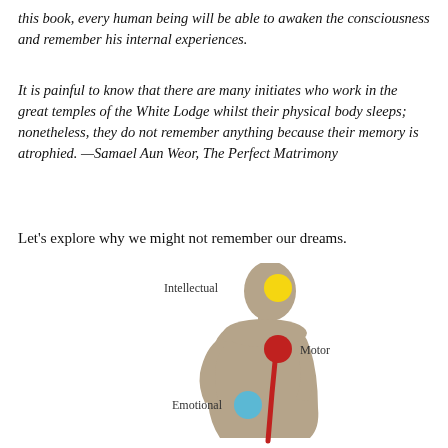this book, every human being will be able to awaken the consciousness and remember his internal experiences.
It is painful to know that there are many initiates who work in the great temples of the White Lodge whilst their physical body sleeps; nonetheless, they do not remember anything because their memory is atrophied. —Samael Aun Weor, The Perfect Matrimony
Let's explore why we might not remember our dreams.
[Figure (illustration): Silhouette of a human figure (tan/khaki color) in profile facing right, with three colored circles representing energy centers: a yellow circle at the head labeled 'Intellectual', a red circle at the neck/upper spine area labeled 'Motor' with a red line extending down the spine, and a blue circle at the chest/heart area labeled 'Emotional'.]